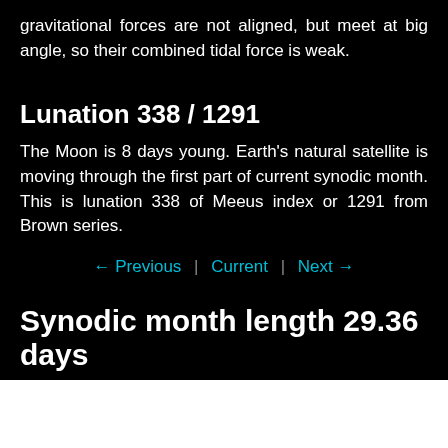gravitational forces are not aligned, but meet at big angle, so their combined tidal force is weak.
Lunation 338 / 1291
The Moon is 8 days young. Earth's natural satellite is moving through the first part of current synodic month. This is lunation 338 of Meeus index or 1291 from Brown series.
← Previous  |  Current  |  Next →
Synodic month length 29.36 days